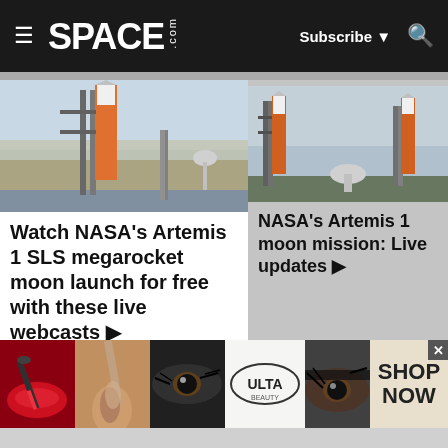SPACE.com — Subscribe — Search
[Figure (photo): NASA Artemis 1 SLS rocket on launch pad at Kennedy Space Center, tall orange rocket with launch tower visible against hazy sky]
Watch NASA's Artemis 1 SLS megarocket moon launch for free with these live webcasts ▶
[Figure (photo): NASA Artemis 1 SLS rocket on launch pad viewed from distance, multiple launch towers visible against overcast sky]
NASA's Artemis 1 moon mission: Live updates ▶
[Figure (photo): Ulta Beauty advertisement banner showing makeup images — red lips with brush, eyeshadow brush, dramatic eye makeup, Ulta Beauty logo, and SHOP NOW call to action]